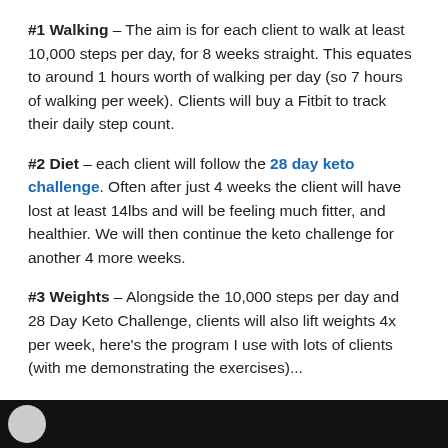#1 Walking – The aim is for each client to walk at least 10,000 steps per day, for 8 weeks straight. This equates to around 1 hours worth of walking per day (so 7 hours of walking per week). Clients will buy a Fitbit to track their daily step count.
#2 Diet – each client will follow the 28 day keto challenge. Often after just 4 weeks the client will have lost at least 14lbs and will be feeling much fitter, and healthier. We will then continue the keto challenge for another 4 more weeks.
#3 Weights – Alongside the 10,000 steps per day and 28 Day Keto Challenge, clients will also lift weights 4x per week, here's the program I use with lots of clients (with me demonstrating the exercises)...
WORKOUT 1:
[Figure (photo): Dark video thumbnail showing a person, partially visible at the bottom of the page]